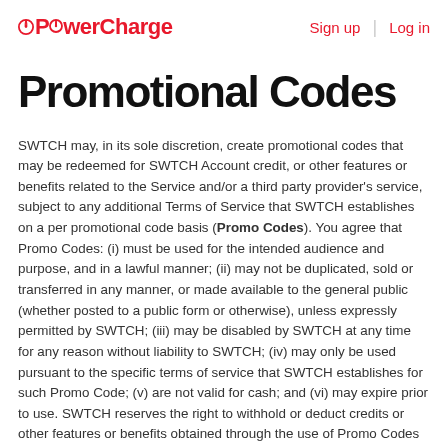PowerCharge | Sign up | Log in
Promotional Codes
SWTCH may, in its sole discretion, create promotional codes that may be redeemed for SWTCH Account credit, or other features or benefits related to the Service and/or a third party provider's service, subject to any additional Terms of Service that SWTCH establishes on a per promotional code basis (Promo Codes). You agree that Promo Codes: (i) must be used for the intended audience and purpose, and in a lawful manner; (ii) may not be duplicated, sold or transferred in any manner, or made available to the general public (whether posted to a public form or otherwise), unless expressly permitted by SWTCH; (iii) may be disabled by SWTCH at any time for any reason without liability to SWTCH; (iv) may only be used pursuant to the specific terms of service that SWTCH establishes for such Promo Code; (v) are not valid for cash; and (vi) may expire prior to use. SWTCH reserves the right to withhold or deduct credits or other features or benefits obtained through the use of Promo Codes by you or any other User in the event that SWTCH determines or believes that the use or redemption of the